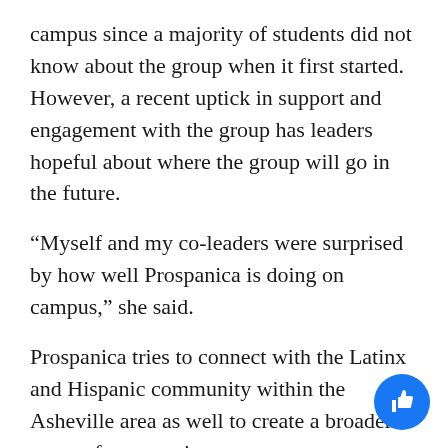campus since a majority of students did not know about the group when it first started. However, a recent uptick in support and engagement with the group has leaders hopeful about where the group will go in the future.
“Myself and my co-leaders were surprised by how well Prospanica is doing on campus,” she said.
Prospanica tries to connect with the Latinx and Hispanic community within the Asheville area as well to create a broader sense of community.
“Around here in Asheville I feel like we are trying to create that connection with the Latinx community outside UNCA as well and just tackle more issues with the Latinx community in Asheville as a whole,” Garzon said.